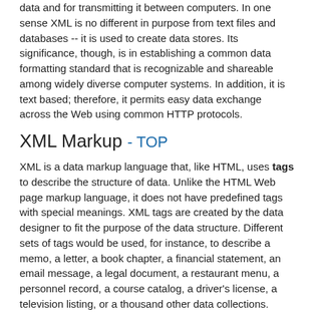data and for transmitting it between computers. In one sense XML is no different in purpose from text files and databases -- it is used to create data stores. Its significance, though, is in establishing a common data formatting standard that is recognizable and shareable among widely diverse computer systems. In addition, it is text based; therefore, it permits easy data exchange across the Web using common HTTP protocols.
XML Markup - TOP
XML is a data markup language that, like HTML, uses tags to describe the structure of data. Unlike the HTML Web page markup language, it does not have predefined tags with special meanings. XML tags are created by the data designer to fit the purpose of the data structure. Different sets of tags would be used, for instance, to describe a memo, a letter, a book chapter, a financial statement, an email message, a legal document, a restaurant menu, a personnel record, a course catalog, a driver's license, a television listing, or a thousand other data collections.
As you might recognize from the above listing, all variety of data structures can be represented in XML. It is not limited to linear lines of text as is common to text files; neither is it limited to relational information organized into the rows and columns of database...